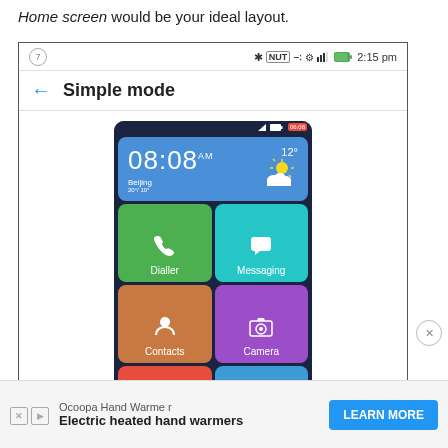Home screen would be your ideal layout.
[Figure (screenshot): A smartphone screenshot showing the 'Simple mode' settings screen on an Android device. The screen displays a home screen layout with a weather widget showing 08:08 AM, Beijing, 12°, and a 2x3 grid of large app tiles: Dialler (green), Messaging (teal), Contacts (orange/brown), Camera (purple), Music (red), Gallery (blue). The device status bar shows 2:15 pm and various icons. A navigation bar shows a back arrow and 'Simple mode' title.]
Ocoopa Hand Warmer
Electric heated hand warmers